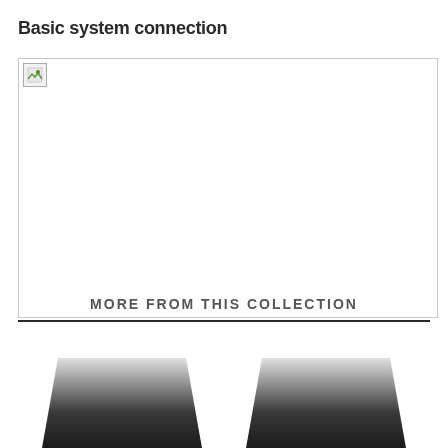Basic system connection
[Figure (schematic): Basic system connection diagram - image placeholder with broken image icon visible]
MORE FROM THIS COLLECTION
[Figure (photo): Collection items showing dark angled device/product thumbnails at the bottom of the page]